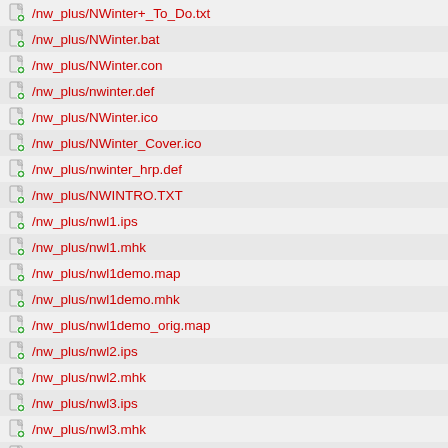/nw_plus/NWinter+_To_Do.txt
/nw_plus/NWinter.bat
/nw_plus/NWinter.con
/nw_plus/nwinter.def
/nw_plus/NWinter.ico
/nw_plus/NWinter_Cover.ico
/nw_plus/nwinter_hrp.def
/nw_plus/NWINTRO.TXT
/nw_plus/nwl1.ips
/nw_plus/nwl1.mhk
/nw_plus/nwl1demo.map
/nw_plus/nwl1demo.mhk
/nw_plus/nwl1demo_orig.map
/nw_plus/nwl2.ips
/nw_plus/nwl2.mhk
/nw_plus/nwl3.ips
/nw_plus/nwl3.mhk
/nw_plus/nwl4.ips
/nw_plus/nwl4.mhk
/nw_plus/nwl5.ips
/nw_plus/nwl5.mhk